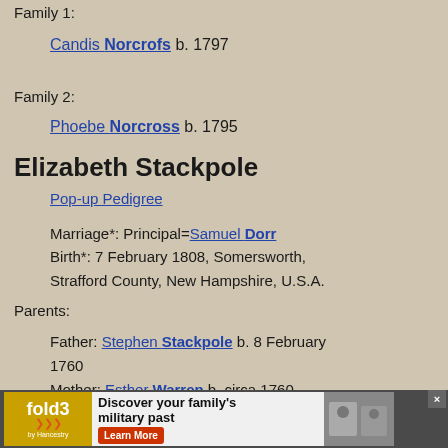Family 1:
Candis Norcrofs b. 1797
Family 2:
Phoebe Norcross b. 1795
Elizabeth Stackpole
Pop-up Pedigree
Marriage*: Principal=Samuel Dorr
Birth*: 7 February 1808, Somersworth, Strafford County, New Hampshire, U.S.A.
Parents:
Father: Stephen Stackpole b. 8 February 1760
Mother: Esther Warren b. circa 1760
Family: